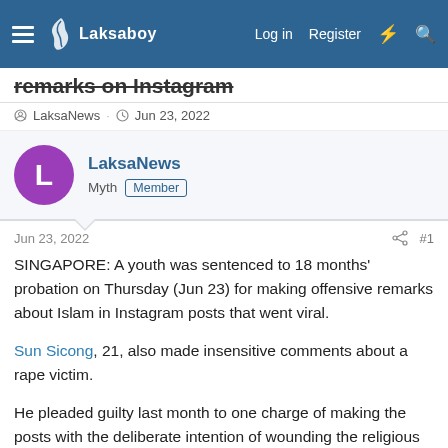Laksaboy — Log in  Register
remarks on Instagram
LaksaNews · Jun 23, 2022
LaksaNews
Myth  Member
Jun 23, 2022   #1
SINGAPORE: A youth was sentenced to 18 months' probation on Thursday (Jun 23) for making offensive remarks about Islam in Instagram posts that went viral.
Sun Sicong, 21, also made insensitive comments about a rape victim.
He pleaded guilty last month to one charge of making the posts with the deliberate intention of wounding the religious feelings of Muslims.